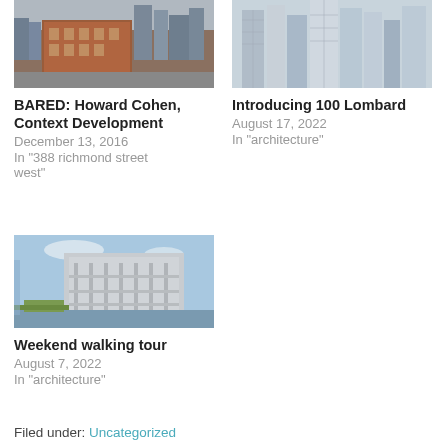[Figure (photo): Street-level photo of a red brick heritage building with urban skyscrapers behind it]
BARED: Howard Cohen, Context Development
December 13, 2016
In "388 richmond street west"
[Figure (photo): Aerial city skyline with tall glass skyscraper towers]
Introducing 100 Lombard
August 17, 2022
In "architecture"
[Figure (photo): Modern building with waterfall feature and green landscaping]
Weekend walking tour
August 7, 2022
In "architecture"
Filed under: Uncategorized